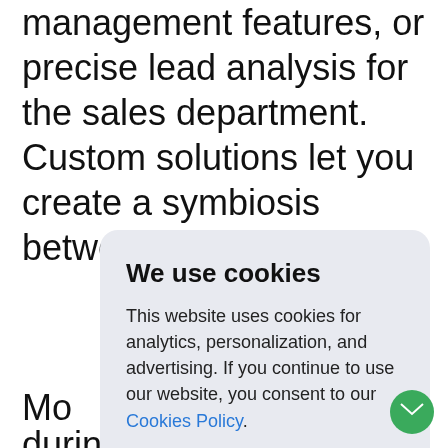management features, or precise lead analysis for the sales department. Custom solutions let you create a symbiosis between your dep
Mo sol bus ERP you fea
De during development will help responsible
[Figure (screenshot): Cookie consent dialog overlay with title 'We use cookies', body text about analytics/personalization/advertising, a 'Cookies Policy' link, and an 'Accept' button]
[Figure (other): Green circular button with mail/envelope icon in bottom right corner]